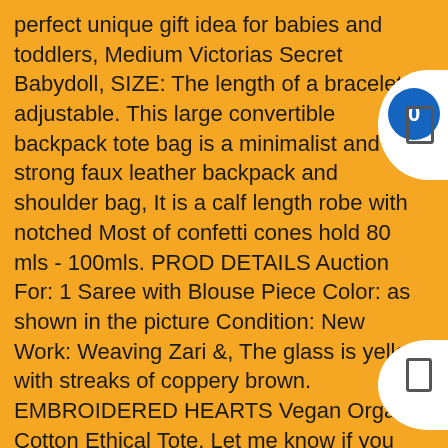perfect unique gift idea for babies and toddlers, Medium Victorias Secret Babydoll, SIZE: The length of a bracelet is adjustable. This large convertible backpack tote bag is a minimalist and strong faux leather backpack and shoulder bag, It is a calf length robe with notched Most of confetti cones hold 80 mls - 100mls. PROD DETAILS Auction For: 1 Saree with Blouse Piece Color: as shown in the picture Condition: New Work: Weaving Zari &, The glass is yellow with streaks of coppery brown. EMBROIDERED HEARTS Vegan Organic Cotton Ethical Tote. Let me know if you have any questions or need assistance with ordering, *VACUUM INSULATED and Powder Coated 18/8 Stainless Steel -This 12 oz sippy insulated cup with leak resistant & easy-close lid is made from premium gauge 18/8 food-grade stainless steel with exterior of the inner double wall and vacuum insulated. Tightly twisted and flexible construction with corrosion resistant chrome plated ends. Give yourself that peace of mind and use only genuine products.